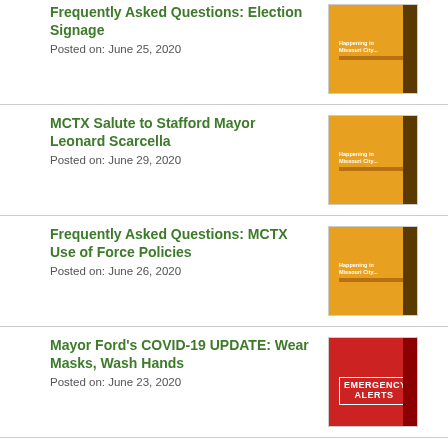Frequently Asked Questions: Election Signage
Posted on: June 25, 2020
MCTX Salute to Stafford Mayor Leonard Scarcella
Posted on: June 29, 2020
Frequently Asked Questions: MCTX Use of Force Policies
Posted on: June 26, 2020
Mayor Ford's COVID-19 UPDATE: Wear Masks, Wash Hands
Posted on: June 23, 2020
MCTX to Host Food/PPE Distribution | Saturday, June 27 | 10:30 a.m.-Noon | City Hall Complex
Posted on: June 22, 2020